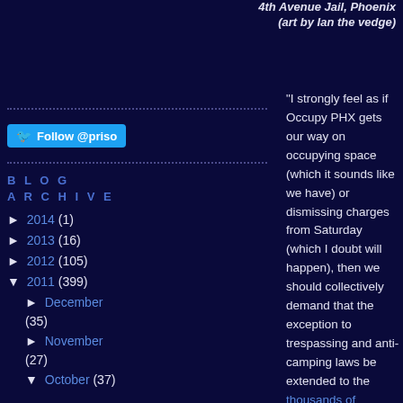4th Avenue Jail, Phoenix
(art by Ian the vedge)
[Figure (other): Twitter Follow button for @priso account]
BLOG ARCHIVE
► 2014 (1)
► 2013 (16)
► 2012 (105)
▼ 2011 (399)
► December (35)
► November (27)
▼ October (37)
"I strongly feel as if Occupy PHX gets our way on occupying space (which it sounds like we have) or dismissing charges from Saturday (which I doubt will happen), then we should collectively demand that the exception to trespassing and anti-camping laws be extended to the thousands of homeless people in Phoenix who aren't just fighting for their freedom of expression, but for their very lives out here and being arrested for it. Elizabeth Venable, in the cc here, can provide you with the report they prepared for the city council on their experiences of being criminalized and harassed. When I read it, I wept. Seriously. Maybe she and the homeless campers who have been organizing around this issue will be willing to do a workshop at the Plaza sometime about it all.
Along those lines, Occupy Phoenix - if it's truly